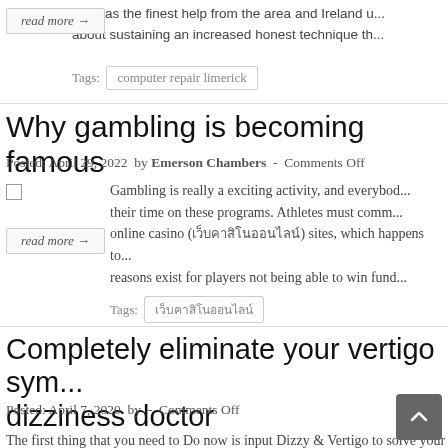seen as the finest help from the area and Ireland u... about sustaining an increased honest technique th...
read more →
Tags: computer repair limerick
Why gambling is becoming famous
Posted: April 29, 2022  by Emerson Chambers  -  Comments Off
Gambling is really a exciting activity, and everybody... their time on these programs. Athletes must comm... online casino (เว็บคาสิโนออนไลน์) sites, which happens to... reasons exist for players not being able to win fund...
read more →
Tags: เว็บคาสิโนออนไลน์
Completely eliminate your vertigo sym... dizziness doctor
Posted: April 7, 2020  by  -  Comments Off
The first thing that you need to Do now is input Dizzy & Vertigo to solve your o...